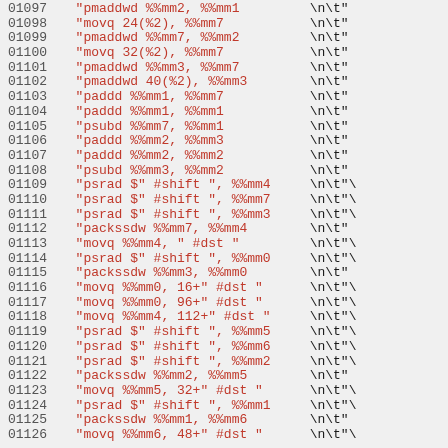Assembly source code listing lines 01097-01126 with instruction mnemonics and newline/tab escape sequences
| Line | Instruction | Suffix |
| --- | --- | --- |
| 01097 | "pmaddwd %%mm2, %%mm1 | \n\t" |
| 01098 | "movq 24(%2), %%mm7 | \n\t" |
| 01099 | "pmaddwd %%mm7, %%mm2 | \n\t" |
| 01100 | "movq 32(%2), %%mm7 | \n\t" |
| 01101 | "pmaddwd %%mm3, %%mm7 | \n\t" |
| 01102 | "pmaddwd 40(%2), %%mm3 | \n\t" |
| 01103 | "paddd %%mm1, %%mm7 | \n\t" |
| 01104 | "paddd %%mm1, %%mm1 | \n\t" |
| 01105 | "psubd %%mm7, %%mm1 | \n\t" |
| 01106 | "paddd %%mm2, %%mm3 | \n\t" |
| 01107 | "paddd %%mm2, %%mm2 | \n\t" |
| 01108 | "psubd %%mm3, %%mm2 | \n\t" |
| 01109 | "psrad $" #shift ", %%mm4 | \n\t"\ |
| 01110 | "psrad $" #shift ", %%mm7 | \n\t"\ |
| 01111 | "psrad $" #shift ", %%mm3 | \n\t"\ |
| 01112 | "packssdw %%mm7, %%mm4 | \n\t" |
| 01113 | "movq %%mm4, " #dst " | \n\t"\ |
| 01114 | "psrad $" #shift ", %%mm0 | \n\t"\ |
| 01115 | "packssdw %%mm3, %%mm0 | \n\t" |
| 01116 | "movq %%mm0, 16+" #dst " | \n\t"\ |
| 01117 | "movq %%mm0, 96+" #dst " | \n\t"\ |
| 01118 | "movq %%mm4, 112+" #dst " | \n\t"\ |
| 01119 | "psrad $" #shift ", %%mm5 | \n\t"\ |
| 01120 | "psrad $" #shift ", %%mm6 | \n\t"\ |
| 01121 | "psrad $" #shift ", %%mm2 | \n\t"\ |
| 01122 | "packssdw %%mm2, %%mm5 | \n\t" |
| 01123 | "movq %%mm5, 32+" #dst " | \n\t"\ |
| 01124 | "psrad $" #shift ", %%mm1 | \n\t"\ |
| 01125 | "packssdw %%mm1, %%mm6 | \n\t" |
| 01126 | "movq %%mm6, 48+" #dst " | \n\t"\ |